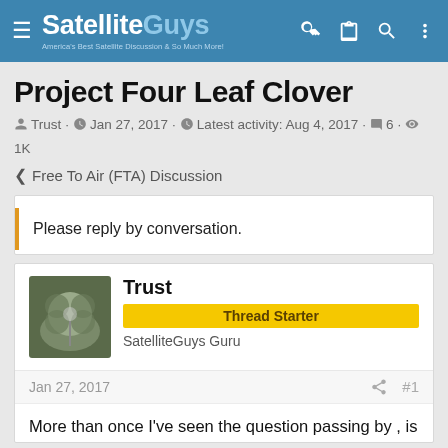SatelliteGuys — America's Best Satellite Discussion & So Much More!
Project Four Leaf Clover
Trust · Jan 27, 2017 · Latest activity: Aug 4, 2017 · 6 · 1K
< Free To Air (FTA) Discussion
Please reply by conversation.
Trust
Thread Starter
SatelliteGuys Guru
Jan 27, 2017  #1
More than once I've seen the question passing by , is